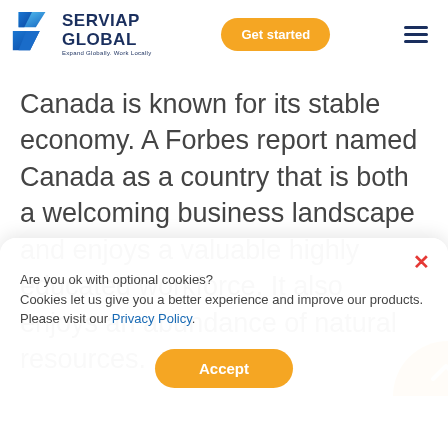[Figure (logo): Serviap Global logo with blue chevron/arrow icon and text 'SERVIAP GLOBAL' with tagline 'Expand Globally. Work Locally']
Canada is known for its stable economy. A Forbes report named Canada as a country that is both a welcoming business landscape and enjoys a valuable highly educated workforce. It also enjoys an abundance of natural resources.
Are you ok with optional cookies?
Cookies let us give you a better experience and improve our products. Please visit our Privacy Policy.